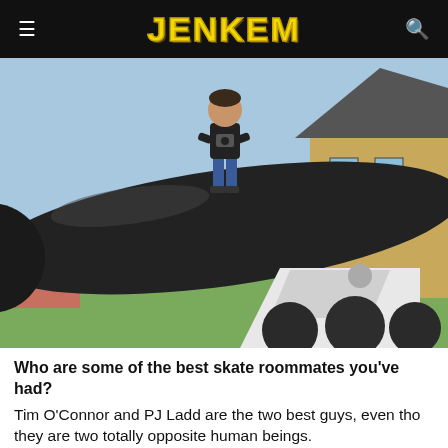JENKEM
[Figure (photo): A man standing on top of a large black cannon outdoors, with a brick building visible in the background and cannonballs on the ground below. The photo is taken from a low angle close to the cannon barrel.]
Who are some of the best skate roommates you've had?
Tim O'Connor and PJ Ladd are the two best guys, even tho they are two totally opposite human beings.
PJ's real mellow?
So is Tim O'Connor if you know him, but it can flip at any